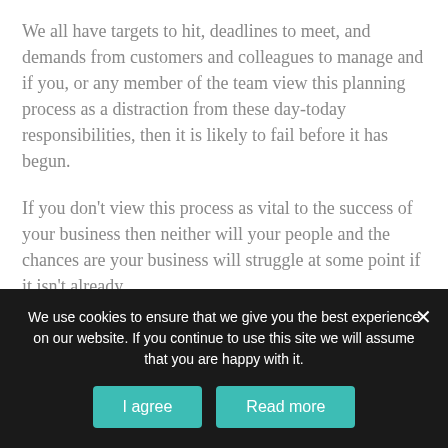We all have targets to hit, deadlines to meet, and demands from customers and colleagues to manage and if you, or any member of the team view this planning process as a distraction from these day-today responsibilities, then it is likely to fail before it has begun.
If you don't view this process as vital to the success of your business then neither will your people and the chances are your business will struggle at some point if it isn't already.
Read that last sentence again and if you
We use cookies to ensure that we give you the best experience on our website. If you continue to use this site we will assume that you are happy with it.